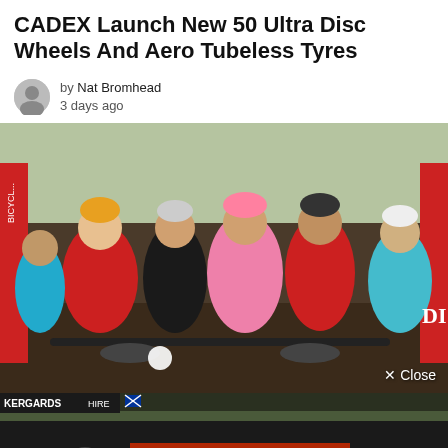CADEX Launch New 50 Ultra Disc Wheels And Aero Tubeless Tyres
by Nat Bromhead
3 days ago
[Figure (photo): Group of cyclists posing together at an outdoor cycling event, wearing helmets and cycling gear. Some in red jerseys, one in pink. Bicycle gear and banners visible in background. A 'x Close' button overlay in bottom right.]
[Figure (photo): Advertisement banner for 2023 Bowral Classic cycling event. Large crowd of cyclists seen from behind. Text reads 'REGISTER NOW' in large orange letters, '2023 BOWRAL CLASSIC' logo on left, 'ENTRY PRICES RISE AFTER 18 SEPT' text on right. Kergards branding visible top left.]